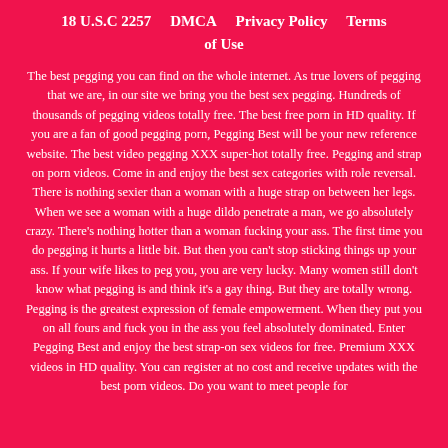18 U.S.C 2257   DMCA   Privacy Policy   Terms of Use
The best pegging you can find on the whole internet. As true lovers of pegging that we are, in our site we bring you the best sex pegging. Hundreds of thousands of pegging videos totally free. The best free porn in HD quality. If you are a fan of good pegging porn, Pegging Best will be your new reference website. The best video pegging XXX super-hot totally free. Pegging and strap on porn videos. Come in and enjoy the best sex categories with role reversal. There is nothing sexier than a woman with a huge strap on between her legs. When we see a woman with a huge dildo penetrate a man, we go absolutely crazy. There's nothing hotter than a woman fucking your ass. The first time you do pegging it hurts a little bit. But then you can't stop sticking things up your ass. If your wife likes to peg you, you are very lucky. Many women still don't know what pegging is and think it's a gay thing. But they are totally wrong. Pegging is the greatest expression of female empowerment. When they put you on all fours and fuck you in the ass you feel absolutely dominated. Enter Pegging Best and enjoy the best strap-on sex videos for free. Premium XXX videos in HD quality. You can register at no cost and receive updates with the best porn videos. Do you want to meet people for